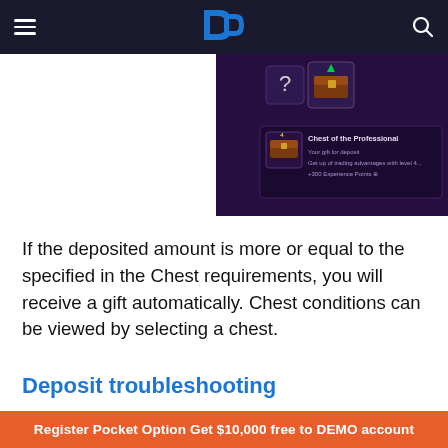[Figure (screenshot): Game UI screenshot showing a dark purple interface with a chest item labeled 'Chest of the Professional' and a question mark icon]
If the deposited amount is more or equal to the specified in the Chest requirements, you will receive a gift automatically. Chest conditions can be viewed by selecting a chest.
Deposit troubleshooting
If your deposit has not been processed right
Register Pocket Option Get $10,000 free to DEMO account